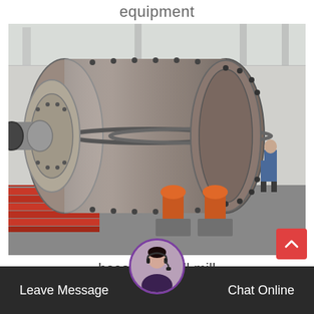equipment
[Figure (photo): Large industrial ball mill (hosokawa ball mill) in a factory setting. The mill is a large horizontal cylindrical drum with flanged ends, sitting on orange roller supports. A worker in blue overalls stands beside it for scale. Red steel beams are visible in the background.]
hosokawa ball mill
Leave Message   Chat Online